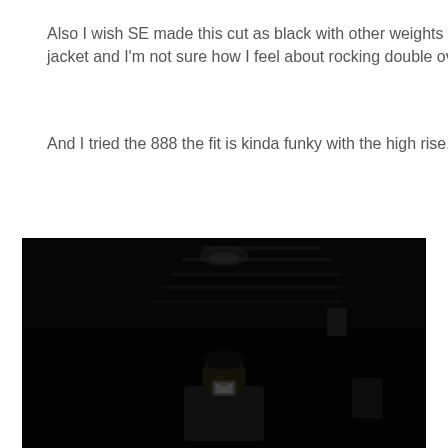Also I wish SE made this cut as black with other weights besides 14 (I know there's the 14 and 18 OD but I plan on getting an OD jacket and I'm not sure how I feel about rocking double overdyed.)
And I tried the 888 the fit is kinda funky with the high rise.
[Figure (photo): A dark, nearly black photograph of a person taking a mirror selfie with a phone in a dimly lit room. The person is wearing dark clothing and is barely visible against the very dark background. Some faint structural elements like steps or shelves are visible in the background.]